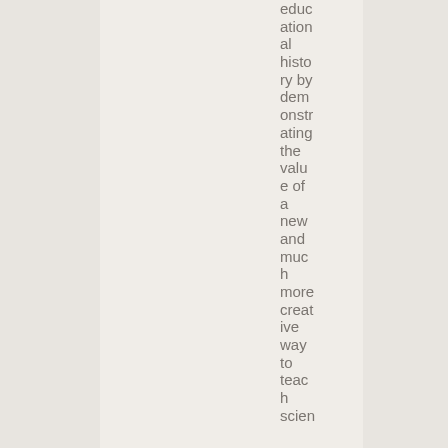educational history by demonstrating the value of a new and much more creative way to teach scien